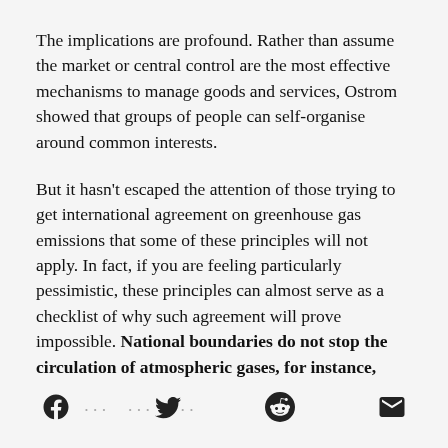The implications are profound. Rather than assume the market or central control are the most effective mechanisms to manage goods and services, Ostrom showed that groups of people can self-organise around common interests.
But it hasn't escaped the attention of those trying to get international agreement on greenhouse gas emissions that some of these principles will not apply. In fact, if you are feeling particularly pessimistic, these principles can almost serve as a checklist of why such agreement will prove impossible. National boundaries do not stop the circulation of atmospheric gases, for instance,
[social share icons: Facebook, Twitter, Reddit, Email]